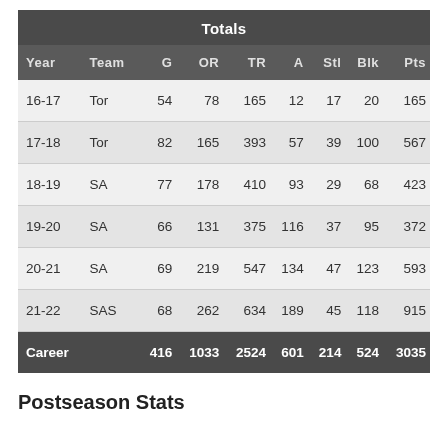| Year | Team | G | OR | TR | A | Stl | Blk | Pts |
| --- | --- | --- | --- | --- | --- | --- | --- | --- |
| 16-17 | Tor | 54 | 78 | 165 | 12 | 17 | 20 | 165 |
| 17-18 | Tor | 82 | 165 | 393 | 57 | 39 | 100 | 567 |
| 18-19 | SA | 77 | 178 | 410 | 93 | 29 | 68 | 423 |
| 19-20 | SA | 66 | 131 | 375 | 116 | 37 | 95 | 372 |
| 20-21 | SA | 69 | 219 | 547 | 134 | 47 | 123 | 593 |
| 21-22 | SAS | 68 | 262 | 634 | 189 | 45 | 118 | 915 |
| Career |  | 416 | 1033 | 2524 | 601 | 214 | 524 | 3035 |
Postseason Stats